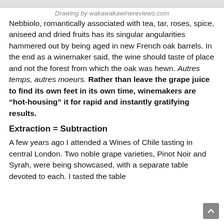Drawing by wakawakawinereviews.com
Nebbiolo, romantically associated with tea, tar, roses, spice, aniseed and dried fruits has its singular angularities hammered out by being aged in new French oak barrels. In the end as a winemaker said, the wine should taste of place and not the forest from which the oak was hewn. Autres temps, autres moeurs. Rather than leave the grape juice to find its own feet in its own time, winemakers are “hot-housing” it for rapid and instantly gratifying results.
Extraction = Subtraction
A few years ago I attended a Wines of Chile tasting in central London. Two noble grape varieties, Pinot Noir and Syrah, were being showcased, with a separate table devoted to each. I tasted the table